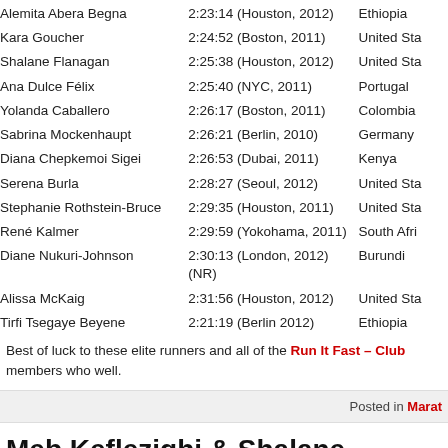| Name | Time (Race) | Country |
| --- | --- | --- |
| Alemita Abera Begna | 2:23:14 (Houston, 2012) | Ethiopia |
| Kara Goucher | 2:24:52 (Boston, 2011) | United States |
| Shalane Flanagan | 2:25:38 (Houston, 2012) | United States |
| Ana Dulce Félix | 2:25:40 (NYC, 2011) | Portugal |
| Yolanda Caballero | 2:26:17 (Boston, 2011) | Colombia |
| Sabrina Mockenhaupt | 2:26:21 (Berlin, 2010) | Germany |
| Diana Chepkemoi Sigei | 2:26:53 (Dubai, 2011) | Kenya |
| Serena Burla | 2:28:27 (Seoul, 2012) | United States |
| Stephanie Rothstein-Bruce | 2:29:35 (Houston, 2011) | United States |
| René Kalmer | 2:29:59 (Yokohama, 2011) | South Africa |
| Diane Nukuri-Johnson | 2:30:13 (London, 2012) (NR) | Burundi |
| Alissa McKaig | 2:31:56 (Houston, 2012) | United States |
| Tirfi Tsegaye Beyene | 2:21:19 (Berlin 2012) | Ethiopia |
Best of luck to these elite runners and all of the Run It Fast – Club members who well.
Posted in Marat
Meb Keflezighi & Shalane Flanagan Win 2 Olympic Marathon Trials – Houston Marathon Results
Posted on 14 January 2012. Tags: 2012 Olympic Marathon Trials, 2012 Olympic Maratho